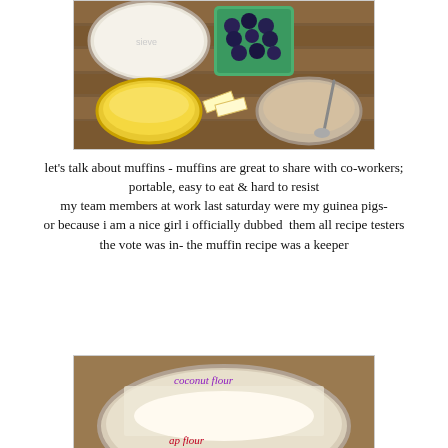[Figure (photo): Overhead view of baking ingredients on a wooden surface: a sieve with flour, a green container of blueberries, a yellow bowl with batter, butter pieces, and a bowl of muffin batter with a spoon.]
let's talk about muffins - muffins are great to share with co-workers;
portable, easy to eat & hard to resist
my team members at work last saturday were my guinea pigs-
or because i am a nice girl i officially dubbed  them all recipe testers
the vote was in- the muffin recipe was a keeper
[Figure (photo): A sieve containing coconut flour and another flour on a wooden surface, with text annotations 'coconut flour' in purple and 'ap flour' in red.]